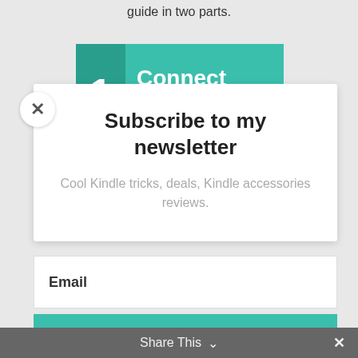guide in two parts.
[Figure (infographic): Green numbered banner showing '1 Connect Kindle Fire' with a dark teal number box on left and lighter teal text area on right]
[Figure (screenshot): Close button (X) in white circle on left side of modal]
Subscribe to my newsletter
Cool Kindle tricks, deals, Kindle accessories reviews.
Email
SUBSCRIBE!
Share This ∨  ×